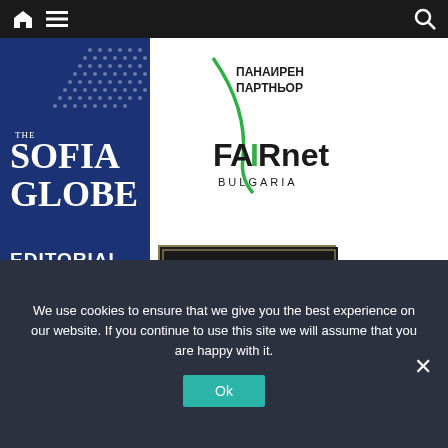Navigation bar with home, menu, and search icons
[Figure (logo): The Sofia Globe Editorial Charter - dark blue panel with white text and dotted pattern]
[Figure (logo): FAIRnet Bulgaria logo with green diagonal line and Cyrillic text ПАНАИРЕН ПАРТНЬОР]
[Figure (logo): Little London British Food in Sofia - black box with white text, Sofia, Yanko Sakazov Str. 22, Facebook link]
We use cookies to ensure that we give you the best experience on our website. If you continue to use this site we will assume that you are happy with it.
Ok